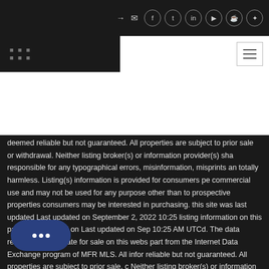Navigation header with social icons and hamburger menu
deemed reliable but not guaranteed. All properties are subject to prior sale or withdrawal. Neither listing broker(s) or information provider(s) shall be responsible for any typographical errors, misinformation, misprints and shall be totally harmless. Listing(s) information is provided for consumers personal, commercial use and may not be used for any purpose other than to identify prospective properties consumers may be interested in purchasing. Information on this site was last updated Last updated on September 2, 2022 10:25 AM UTCd. The listing information on this page last changed on Last updated on September 2, 2022 10:25 AM UTCd. The data relating to real estate for sale on this website comes in part from the Internet Data Exchange program of MFR MLS. All information deemed reliable but not guaranteed. All properties are subject to prior sale, change or withdrawal. Neither listing broker(s) or information provider(s) shall be held responsible for any typographical errors, misinformation, misprints and shall be held totally harmless. Listing(s) information is provided for consumers